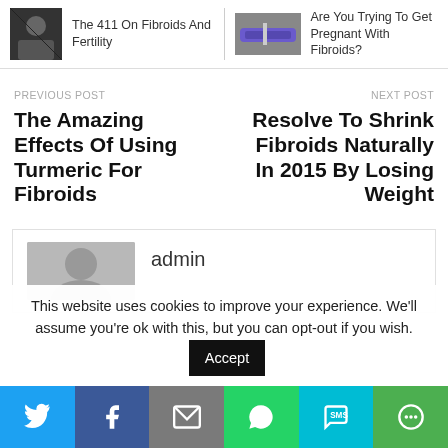[Figure (photo): Thumbnail image for 'The 411 On Fibroids And Fertility' - dark silhouette photo]
The 411 On Fibroids And Fertility
[Figure (photo): Thumbnail image for 'Are You Trying To Get Pregnant With Fibroids?' - pregnancy test photo]
Are You Trying To Get Pregnant With Fibroids?
PREVIOUS POST
The Amazing Effects Of Using Turmeric For Fibroids
NEXT POST
Resolve To Shrink Fibroids Naturally In 2015 By Losing Weight
[Figure (photo): Author avatar placeholder - gray silhouette]
admin
This website uses cookies to improve your experience. We'll assume you're ok with this, but you can opt-out if you wish.
Accept